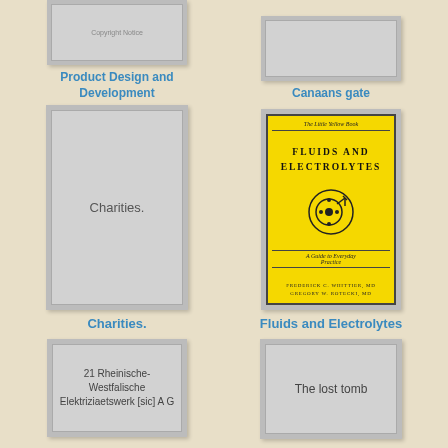[Figure (illustration): Book cover thumbnail for 'Product Design and Development' - gray placeholder cover]
Product Design and Development
[Figure (illustration): Book cover thumbnail for 'Canaans gate' - gray placeholder cover]
Canaans gate
[Figure (illustration): Book cover for 'Charities.' - gray placeholder cover with text 'Charities.']
Charities.
[Figure (illustration): Book cover for 'Fluids and Electrolytes' - yellow cover with title text, circular medical icon, subtitle 'A Guide to Everyday Practice', authors Frederick C. Whittier MD and Gregory W. Rotecki MD]
Fluids and Electrolytes
[Figure (illustration): Book cover thumbnail for '21 Rheinische-Westfalische Elektriziaetswerk [sic] A G' - gray placeholder cover]
[Figure (illustration): Book cover thumbnail for 'The lost tomb' - gray placeholder cover]